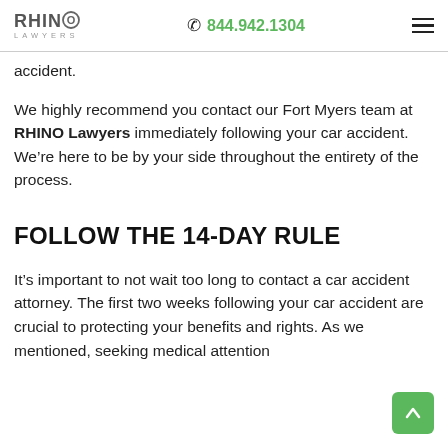RHINO LAWYERS | 844.942.1304
accident.
We highly recommend you contact our Fort Myers team at RHINO Lawyers immediately following your car accident. We're here to be by your side throughout the entirety of the process.
FOLLOW THE 14-DAY RULE
It's important to not wait too long to contact a car accident attorney. The first two weeks following your car accident are crucial to protecting your benefits and rights. As we mentioned, seeking medical attention